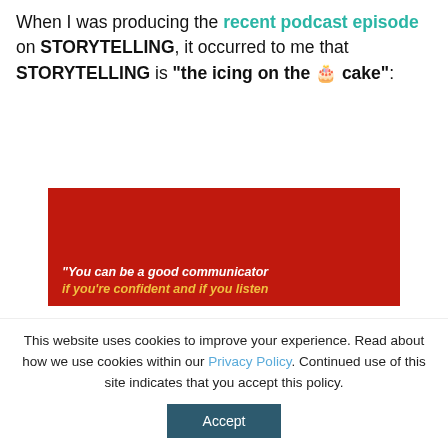When I was producing the recent podcast episode on STORYTELLING, it occurred to me that STORYTELLING is "the icing on the 🎂 cake":
[Figure (photo): Red background image with white and yellow bold italic text reading: "You can be a good communicator if you're confident and if you listen"]
This website uses cookies to improve your experience. Read about how we use cookies within our Privacy Policy. Continued use of this site indicates that you accept this policy.